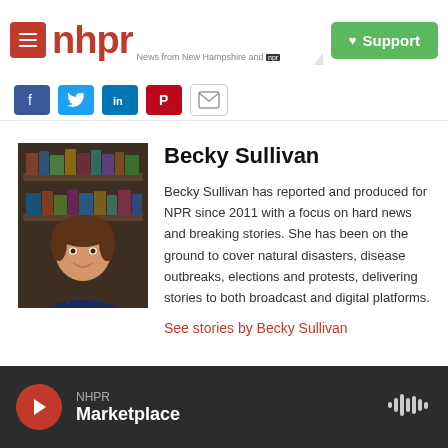[Figure (logo): NHPR logo with red menu icon, red nhpr text, tagline 'News from New Hampshire and NPR', mountain silhouette illustration, and green Support button]
[Figure (infographic): Social sharing icons: Facebook, Twitter, LinkedIn, Pinterest, Email]
[Figure (photo): Headshot photo of Becky Sullivan, smiling woman with brown hair, arms crossed, wearing dark blue top, bookshelf in background]
Becky Sullivan
Becky Sullivan has reported and produced for NPR since 2011 with a focus on hard news and breaking stories. She has been on the ground to cover natural disasters, disease outbreaks, elections and protests, delivering stories to both broadcast and digital platforms.
See stories by Becky Sullivan
NHPR Marketplace